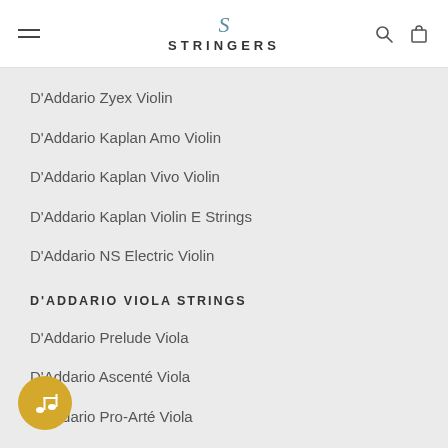STRINGERS
D'Addario Zyex Violin
D'Addario Kaplan Amo Violin
D'Addario Kaplan Vivo Violin
D'Addario Kaplan Violin E Strings
D'Addario NS Electric Violin
D'ADDARIO VIOLA STRINGS
D'Addario Prelude Viola
D'Addario Ascenté Viola
D'Addario Pro-Arté Viola
D'Addario Helicore Viola
D'Addario Zyex Viola
D'Addario Kaplan Amo Viola